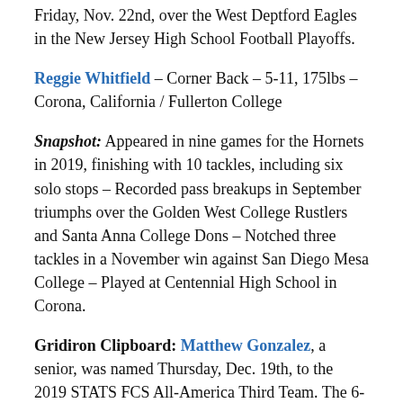Friday, Nov. 22nd, over the West Deptford Eagles in the New Jersey High School Football Playoffs.
Reggie Whitfield – Corner Back – 5-11, 175lbs – Corona, California / Fullerton College
Snapshot: Appeared in nine games for the Hornets in 2019, finishing with 10 tackles, including six solo stops – Recorded pass breakups in September triumphs over the Golden West College Rustlers and Santa Anna College Dons – Notched three tackles in a November win against San Diego Mesa College – Played at Centennial High School in Corona.
Gridiron Clipboard: Matthew Gonzalez, a senior, was named Thursday, Dec. 19th, to the 2019 STATS FCS All-America Third Team. The 6-3, 230-pound tight end from Lakewood, Ohio, is the first student-